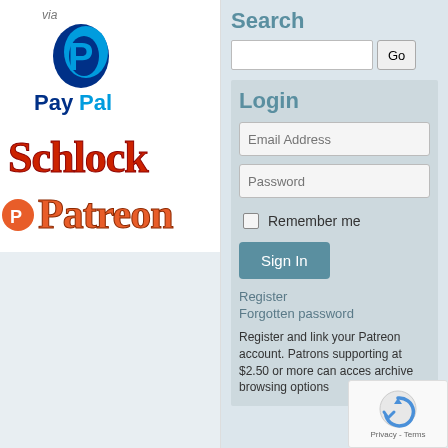via
[Figure (logo): PayPal logo — blue P icon above 'PayPal' text in blue]
[Figure (logo): Schlock Patreon logo — stylized red/orange text 'Schlock' above 'Patreon' with Patreon P icon]
Search
[Figure (screenshot): Search input box and Go button]
Login
[Figure (screenshot): Login form with Email Address field, Password field, Remember me checkbox, Sign In button, Register and Forgotten password links, and descriptive text about Patreon account linking]
Register
Forgotten password
Register and link your Patreon account. Patrons supporting at $2.50 or more can access archive browsing options